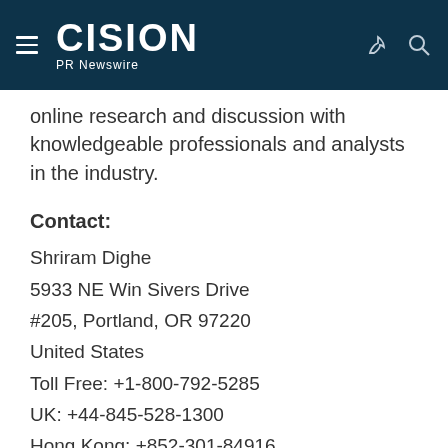CISION PR Newswire
online research and discussion with knowledgeable professionals and analysts in the industry.
Contact:
Shriram Dighe
5933 NE Win Sivers Drive
#205, Portland, OR 97220
United States
Toll Free: +1-800-792-5285
UK: +44-845-528-1300
Hong Kong: +852-301-84916
India (Pune): +91-20-66346060
Fax: +1(855)550-5975
help@alliedmarketresearch.com